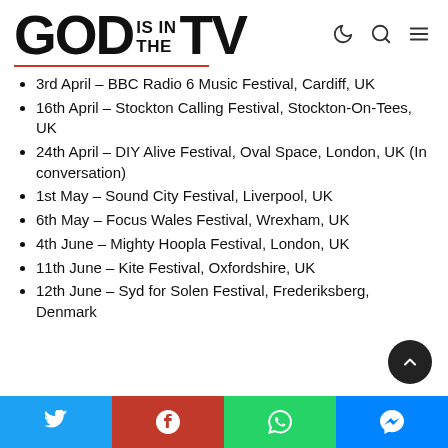GOD IS IN THE TV
3rd April – BBC Radio 6 Music Festival, Cardiff, UK
16th April – Stockton Calling Festival, Stockton-On-Tees, UK
24th April – DIY Alive Festival, Oval Space, London, UK (In conversation)
1st May – Sound City Festival, Liverpool, UK
6th May – Focus Wales Festival, Wrexham, UK
4th June – Mighty Hoopla Festival, London, UK
11th June – Kite Festival, Oxfordshire, UK
12th June – Syd for Solen Festival, Frederiksberg, Denmark